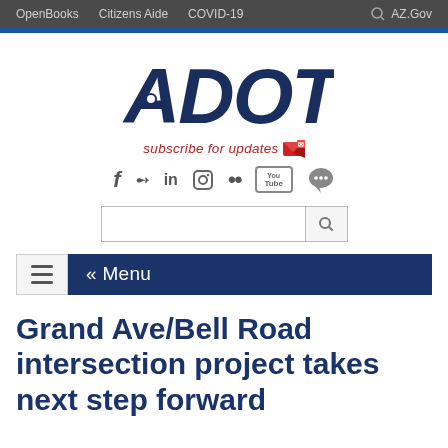OpenBooks   Citizens Aide   COVID-19   AZ.Gov
[Figure (logo): ADOT logo in dark navy blue bold italic text]
subscribe for updates
[Figure (infographic): Social media icons: Facebook, Twitter, LinkedIn, Instagram, Flickr, YouTube, blog/speech bubble]
[Figure (screenshot): Search bar with search button]
[Figure (infographic): Menu bar with hamburger icon and Menu label]
Grand Ave/Bell Road intersection project takes next step forward